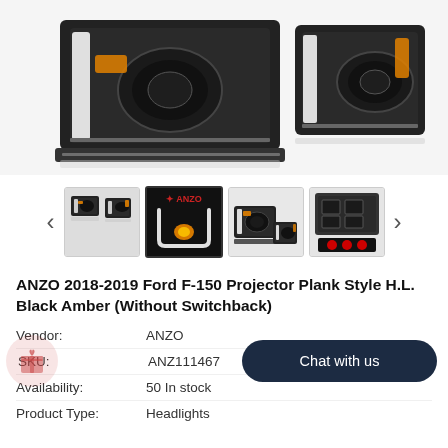[Figure (photo): Main product photo of ANZO 2018-2019 Ford F-150 Projector Plank Style headlights in black with amber accents, shown as a pair on white background]
[Figure (photo): Thumbnail gallery row showing 4 product photos of the headlights from different angles, with left and right navigation arrows]
ANZO 2018-2019 Ford F-150 Projector Plank Style H.L. Black Amber (Without Switchback)
Vendor: ANZO
SKU: ANZ111467
Availability: 50 In stock
Product Type: Headlights